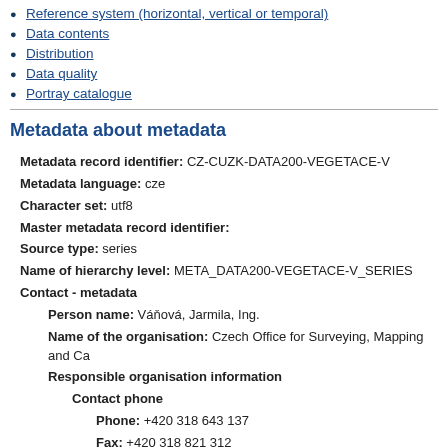Reference system (horizontal, vertical or temporal)
Data contents
Distribution
Data quality
Portray catalogue
Metadata about metadata
Metadata record identifier: CZ-CUZK-DATA200-VEGETACE-V
Metadata language: cze
Character set: utf8
Master metadata record identifier:
Source type: series
Name of hierarchy level: META_DATA200-VEGETACE-V_SERIES
Contact - metadata
Person name: Váňová, Jarmila, Ing.
Name of the organisation: Czech Office for Surveying, Mapping and Ca
Responsible organisation information
Contact phone
Phone: +420 318 643 137
Fax: +420 318 821 312
Address
Delivery place: Pod sídlištěm 1800/9
ZIP code: 182 11